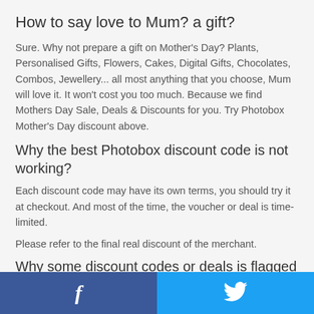How to say love to Mum? a gift?
Sure. Why not prepare a gift on Mother's Day? Plants, Personalised Gifts, Flowers, Cakes, Digital Gifts, Chocolates, Combos, Jewellery... all most anything that you choose, Mum will love it. It won't cost you too much. Because we find Mothers Day Sale, Deals & Discounts for you. Try Photobox Mother's Day discount above.
Why the best Photobox discount code is not working?
Each discount code may have its own terms, you should try it at checkout. And most of the time, the voucher or deal is time-limited.
Please refer to the final real discount of the merchant.
Why some discount codes or deals is flagged *Verified* ?
If discount codes or deals are sourced from the official site or affiliate
[Figure (other): Facebook and Twitter share buttons at the bottom of the page]